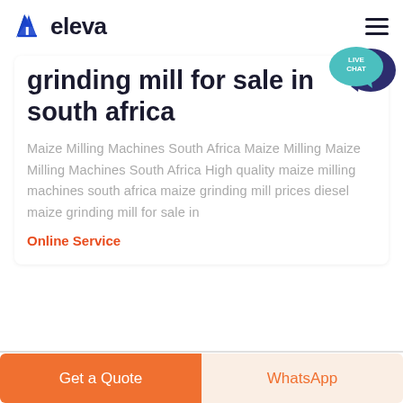eleva
grinding mill for sale in south africa
Maize Milling Machines South Africa Maize Milling Maize Milling Machines South Africa High quality maize milling machines south africa maize grinding mill prices diesel maize grinding mill for sale in
Online Service